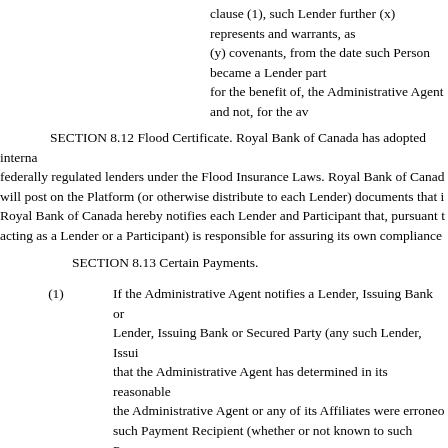clause (1), such Lender further (x) represents and warrants, as (y) covenants, from the date such Person became a Lender part for the benefit of, the Administrative Agent and not, for the av Loan Party, that the Administrative Agent is not a fiduciary wi entrance into, participation in, administration of and performan Agreement (including in connection with the reservation or ex any Loan Document or any documents related hereto or thereto
SECTION 8.12 Flood Certificate. Royal Bank of Canada has adopted interna federally regulated lenders under the Flood Insurance Laws. Royal Bank of Canad will post on the Platform (or otherwise distribute to each Lender) documents that i Royal Bank of Canada hereby notifies each Lender and Participant that, pursuant t acting as a Lender or a Participant) is responsible for assuring its own compliance
SECTION 8.13 Certain Payments.
(1) If the Administrative Agent notifies a Lender, Issuing Bank or Lender, Issuing Bank or Secured Party (any such Lender, Issui that the Administrative Agent has determined in its reasonable the Administrative Agent or any of its Affiliates were erroneo such Payment Recipient (whether or not known to such Payme prepayment or repayment of principal, interest, fees, distributio Payment”) and demands the return of such Erroneous Paymen remain the property of the Administrative Agent and shall be se the Administrative Agent, and such Payment Recipient shall pr return to the Administrative Agent, in same day funds (in the c portion thereof) as to which such a demand was made, togethe date such Erroneous Payment (or portion thereof) was received Administrative.